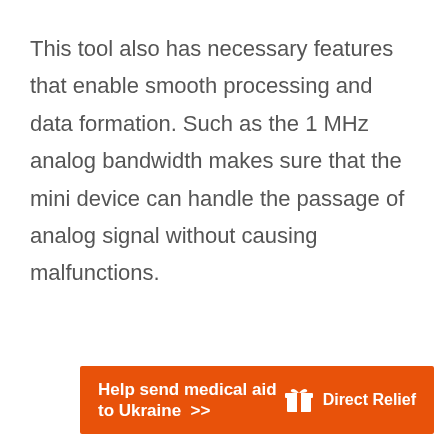This tool also has necessary features that enable smooth processing and data formation. Such as the 1 MHz analog bandwidth makes sure that the mini device can handle the passage of analog signal without causing malfunctions.
[Figure (infographic): Orange banner advertisement: 'Help send medical aid to Ukraine >>' with Direct Relief logo on the right.]